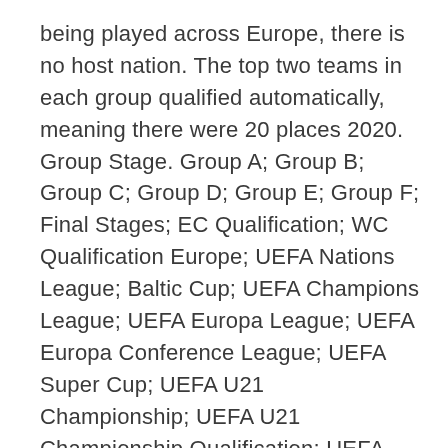being played across Europe, there is no host nation. The top two teams in each group qualified automatically, meaning there were 20 places 2020. Group Stage. Group A; Group B; Group C; Group D; Group E; Group F; Final Stages; EC Qualification; WC Qualification Europe; UEFA Nations League; Baltic Cup; UEFA Champions League; UEFA Europa League; UEFA Europa Conference League; UEFA Super Cup; UEFA U21 Championship; UEFA U21 Championship Qualification; UEFA U19 Championship; UEFA U19 It's a big day for the EHF EURO 2022 qualifers with seven matches, plus two clashes in the EHF EURO Cup. EHF EURO 2022 qualifiers 17:00 CEST Finland vs North Macedonia Romania vs Sweden Ukraine vs Czech Republic. 18:30 CEST Switzerland vs Denmark Russia vs Faroe Islands.